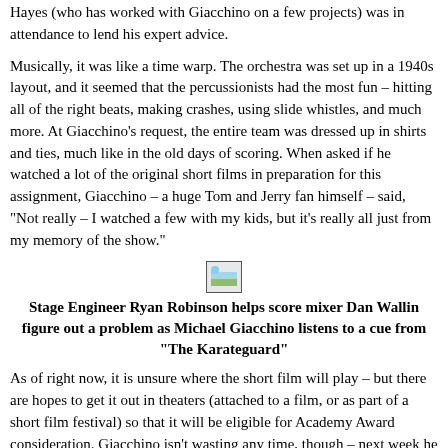Hayes (who has worked with Giacchino on a few projects) was in attendance to lend his expert advice.
Musically, it was like a time warp. The orchestra was set up in a 1940s layout, and it seemed that the percussionists had the most fun – hitting all of the right beats, making crashes, using slide whistles, and much more. At Giacchino's request, the entire team was dressed up in shirts and ties, much like in the old days of scoring. When asked if he watched a lot of the original short films in preparation for this assignment, Giacchino – a huge Tom and Jerry fan himself – said, "Not really – I watched a few with my kids, but it's really all just from my memory of the show."
[Figure (photo): Small broken image placeholder thumbnail]
Stage Engineer Ryan Robinson helps score mixer Dan Wallin figure out a problem as Michael Giacchino listens to a cue from "The Karateguard"
As of right now, it is unsure where the short film will play – but there are hopes to get it out in theaters (attached to a film, or as part of a short film festival) so that it will be eligible for Academy Award consideration. Giacchino isn't wasting any time, though – next week he scores The